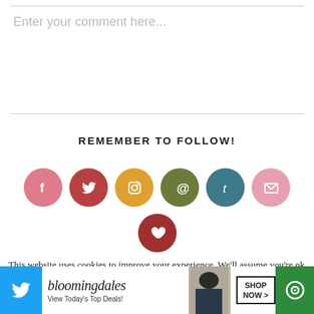Enter your comment here...
REMEMBER TO FOLLOW!
[Figure (infographic): Row of social media icons: Facebook (pink), Twitter (dark red), Instagram (orange), Pinterest (olive green), Tumblr (teal), Email (light pink), and a heart/Bloglovin icon (dark red) below center]
This website uses cookies to improve your experience. We'll assume you're ok with this, but you can opt-ou[CLOSE]t if you wish
[Figure (infographic): Bottom ad bar: Twitter bird icon on blue left, Bloomingdale's advertisement with shop now button, camera/lens icon on green right]